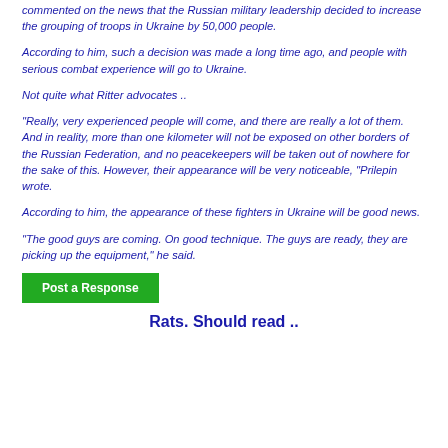commented on the news that the Russian military leadership decided to increase the grouping of troops in Ukraine by 50,000 people.
According to him, such a decision was made a long time ago, and people with serious combat experience will go to Ukraine.
Not quite what Ritter advocates ..
“Really, very experienced people will come, and there are really a lot of them. And in reality, more than one kilometer will not be exposed on other borders of the Russian Federation, and no peacekeepers will be taken out of nowhere for the sake of this. However, their appearance will be very noticeable, "Prilepin wrote.
According to him, the appearance of these fighters in Ukraine will be good news.
“The good guys are coming. On good technique. The guys are ready, they are picking up the equipment,” he said.
Post a Response
Rats. Should read ..